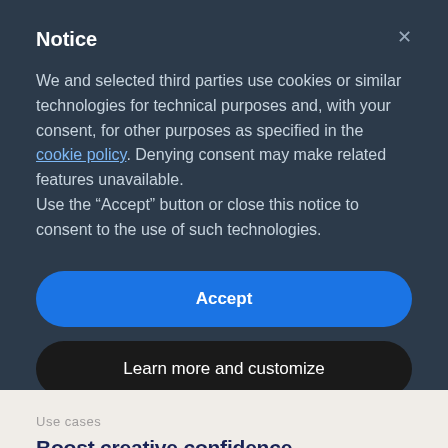Notice
We and selected third parties use cookies or similar technologies for technical purposes and, with your consent, for other purposes as specified in the cookie policy. Denying consent may make related features unavailable.
Use the “Accept” button or close this notice to consent to the use of such technologies.
Accept
Learn more and customize
Use cases
Boost creative confidence